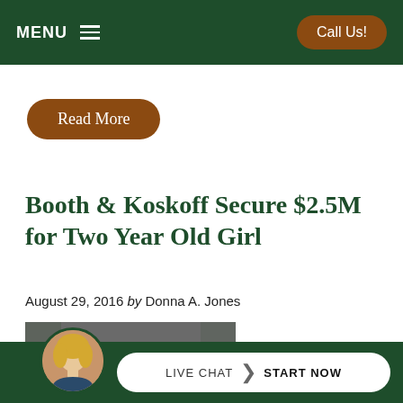MENU  ☰   |   Call Us!
Read More
Booth & Koskoff Secure $2.5M for Two Year Old Girl
August 29, 2016 by Donna A. Jones
[Figure (photo): Photo of two men in business suits standing together]
LIVE CHAT  START NOW